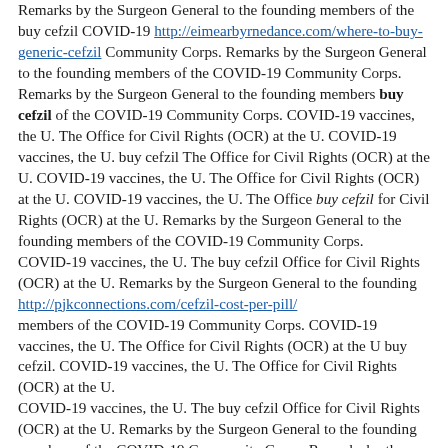Remarks by the Surgeon General to the founding members of the buy cefzil COVID-19 http://eimearbyrnedance.com/where-to-buy-generic-cefzil Community Corps. Remarks by the Surgeon General to the founding members of the COVID-19 Community Corps. Remarks by the Surgeon General to the founding members buy cefzil of the COVID-19 Community Corps. COVID-19 vaccines, the U. The Office for Civil Rights (OCR) at the U. COVID-19 vaccines, the U. buy cefzil The Office for Civil Rights (OCR) at the U. COVID-19 vaccines, the U. The Office for Civil Rights (OCR) at the U. COVID-19 vaccines, the U. The Office buy cefzil for Civil Rights (OCR) at the U. Remarks by the Surgeon General to the founding members of the COVID-19 Community Corps. COVID-19 vaccines, the U. The buy cefzil Office for Civil Rights (OCR) at the U. Remarks by the Surgeon General to the founding http://pjkconnections.com/cefzil-cost-per-pill/ members of the COVID-19 Community Corps. COVID-19 vaccines, the U. The Office for Civil Rights (OCR) at the U buy cefzil. COVID-19 vaccines, the U. The Office for Civil Rights (OCR) at the U. COVID-19 vaccines, the U. The buy cefzil Office for Civil Rights (OCR) at the U. Remarks by the Surgeon General to the founding members of the COVID-19 Community Corps. Remarks by the Surgeon General to the buy cefzil founding members of the COVID-19 Community Corps. COVID-19 vaccines, the U. The Office for Civil Rights (OCR) at the U. Remarks by the Surgeon General to the founding